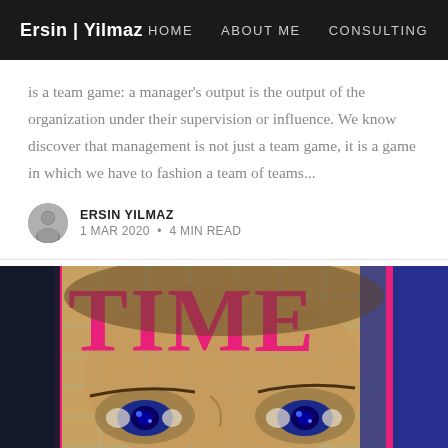Ersin | Yilmaz   HOME   ABOUT ME   CONSULTING
is a team game: a manager's output is the output of the organization under their supervision or influence. We know discover that management is not just a team game, it is a game in which we have to fashion a team of teams...
ERSIN YILMAZ
1 MAR 2020 • 4 MIN READ
[Figure (photo): TIME magazine cover showing a close-up of a person's eyes with the word TIME in large pink/red letters across the top]